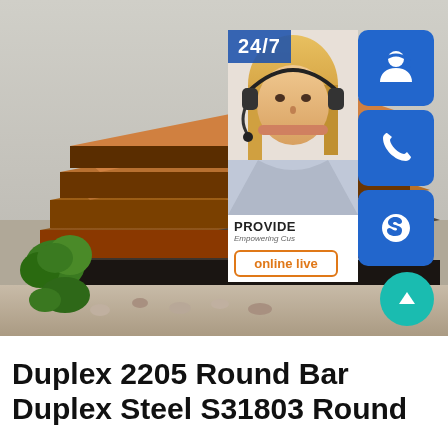[Figure (photo): Stacked steel plates (Duplex steel) on gravel with green plants visible, with customer service overlay panel showing 24/7 support icons (headset, phone, Skype), a woman with headset, PROVIDE text, online live button, and teal scroll-up button.]
Duplex 2205 Round Bar Duplex Steel S31803 Round